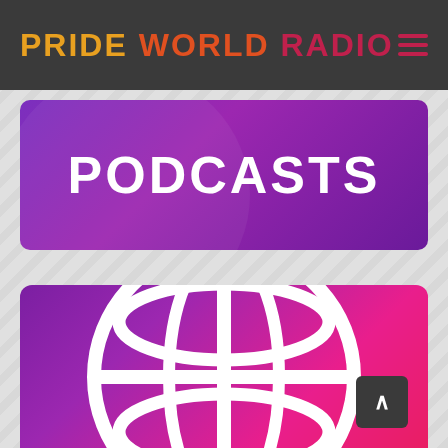PRIDE WORLD RADIO
PODCASTS
[Figure (illustration): Globe icon with latitude and longitude lines, white outline on a purple-to-magenta gradient background, representing a world radio podcast card]